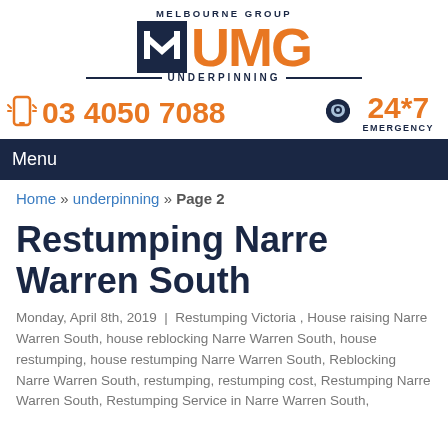[Figure (logo): UMG Melbourne Group Underpinning logo with dark navy square icon and orange UMG text]
03 4050 7088
24*7 EMERGENCY
Menu
Home » underpinning » Page 2
Restumping Narre Warren South
Monday, April 8th, 2019  |  Restumping Victoria , House raising Narre Warren South, house reblocking Narre Warren South, house restumping, house restumping Narre Warren South, Reblocking Narre Warren South, restumping, restumping cost, Restumping Narre Warren South, Restumping Service in Narre Warren South,